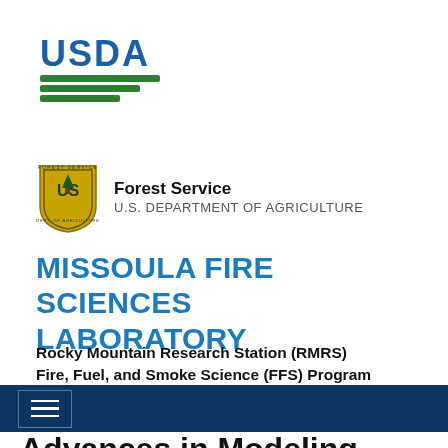[Figure (logo): USDA logo with blue text 'USDA' and green wave/mountain graphic below]
[Figure (logo): USDA Forest Service shield badge logo (gold/yellow shield with 'US' and tree, 'FOREST SERVICE' text around border)]
Forest Service
U.S. DEPARTMENT OF AGRICULTURE
MISSOULA FIRE SCIENCES LABORATORY
Rocky Mountain Research Station (RMRS)
Fire, Fuel, and Smoke Science (FFS) Program
[Figure (screenshot): Dark navy navigation bar with hamburger menu icon (three horizontal lines inside a rectangle)]
Advances in Modeling Wild...